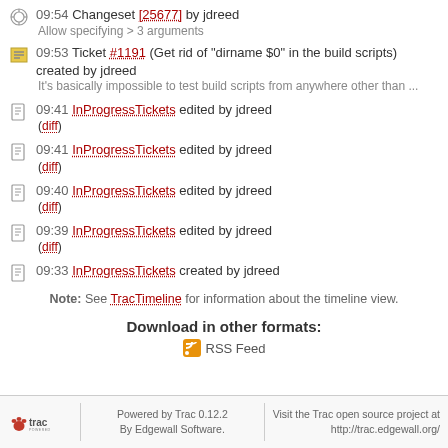09:54 Changeset [25677] by jdreed
Allow specifying > 3 arguments
09:53 Ticket #1191 (Get rid of "dirname $0" in the build scripts) created by jdreed
It's basically impossible to test build scripts from anywhere other than ...
09:41 InProgressTickets edited by jdreed
(diff)
09:41 InProgressTickets edited by jdreed
(diff)
09:40 InProgressTickets edited by jdreed
(diff)
09:39 InProgressTickets edited by jdreed
(diff)
09:33 InProgressTickets created by jdreed
Note: See TracTimeline for information about the timeline view.
Download in other formats:
RSS Feed
Powered by Trac 0.12.2 By Edgewall Software. Visit the Trac open source project at http://trac.edgewall.org/